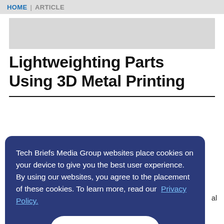HOME | ARTICLE
[Figure (other): Grey banner/advertisement placeholder area]
Lightweighting Parts Using 3D Metal Printing
Tech Briefs Media Group websites place cookies on your device to give you the best user experience. By using our websites, you agree to the placement of these cookies. To learn more, read our Privacy Policy.
Accept & Continue
al
manufacturing value equations for specific types of